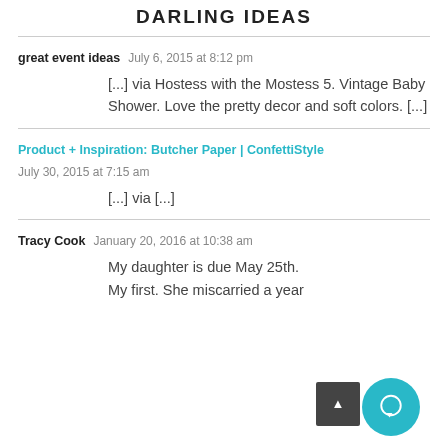DARLING IDEAS
great event ideas   July 6, 2015 at 8:12 pm
[...] via Hostess with the Mostess 5. Vintage Baby Shower. Love the pretty decor and soft colors. [...]
Product + Inspiration: Butcher Paper | ConfettiStyle   July 30, 2015 at 7:15 am
[...] via [...]
Tracy Cook   January 20, 2016 at 10:38 am
My daughter is due May 25th. My first. She miscarried a year